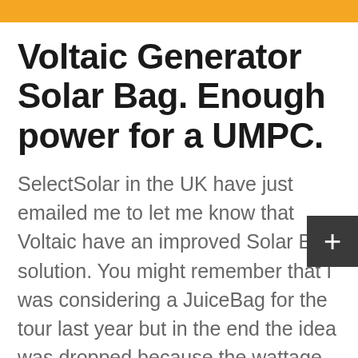Voltaic Generator Solar Bag. Enough power for a UMPC.
SelectSolar in the UK have just emailed me to let me know that Voltaic have an improved Solar Bag solution. You might remember that I was considering a JuiceBag for the tour last year but in the end the idea was dropped because the wattage wasn't high enough. This